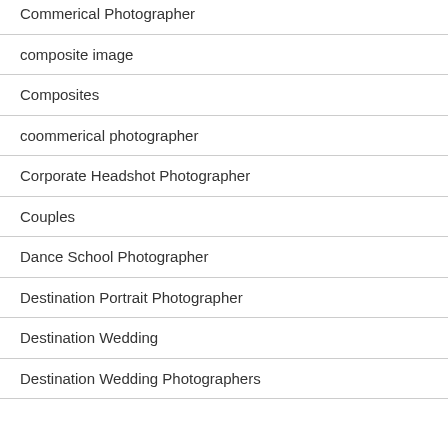Commerical Photographer
composite image
Composites
coommerical photographer
Corporate Headshot Photographer
Couples
Dance School Photographer
Destination Portrait Photographer
Destination Wedding
Destination Wedding Photographers